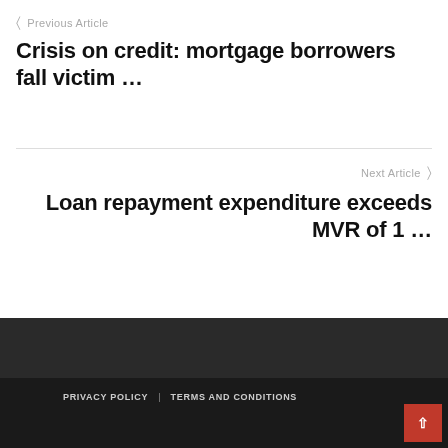Previous Article
Crisis on credit: mortgage borrowers fall victim …
Next Article
Loan repayment expenditure exceeds MVR of 1 …
PRIVACY POLICY   TERMS AND CONDITIONS